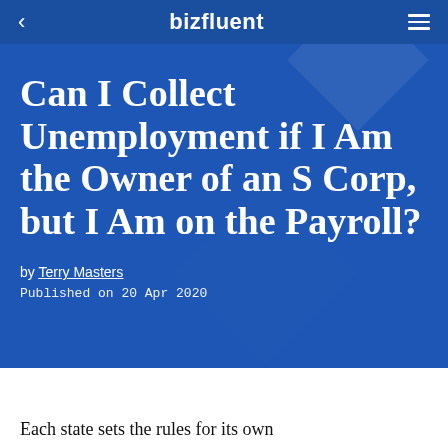bizfluent
Can I Collect Unemployment if I Am the Owner of an S Corp, but I Am on the Payroll?
by Terry Masters
Published on 20 Apr 2020
Each state sets the rules for its own